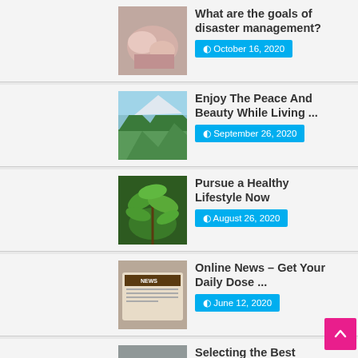[Figure (photo): Hands image related to disaster management]
What are the goals of disaster management?
October 16, 2020
[Figure (photo): Mountain and forest landscape]
Enjoy The Peace And Beauty While Living ...
September 26, 2020
[Figure (photo): Green plant leaves, healthy lifestyle]
Pursue a Healthy Lifestyle Now
August 26, 2020
[Figure (photo): Newspaper/news tablet showing NEWS]
Online News – Get Your Daily Dose ...
June 12, 2020
[Figure (photo): Child in car seat, convertible car seat]
Selecting the Best Convertible Car Seat